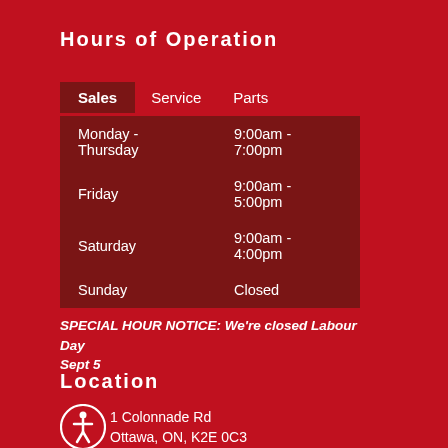Hours of Operation
| Sales | Service | Parts |
| --- | --- | --- |
| Monday - Thursday | 9:00am - 7:00pm |
| Friday | 9:00am - 5:00pm |
| Saturday | 9:00am - 4:00pm |
| Sunday | Closed |
SPECIAL HOUR NOTICE: We're closed Labour Day Sept 5
Location
1 Colonnade Rd
Ottawa, ON, K2E 0C3